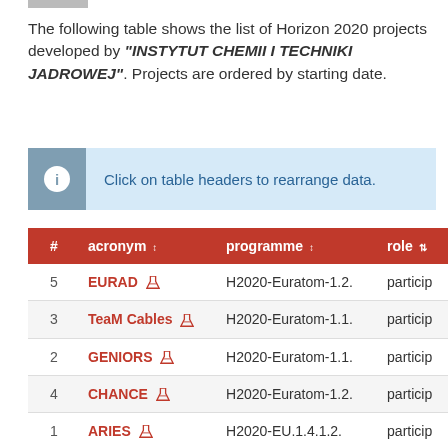The following table shows the list of Horizon 2020 projects developed by "INSTYTUT CHEMII I TECHNIKI JADROWEJ". Projects are ordered by starting date.
Click on table headers to rearrange data.
| # | acronym | programme | role |
| --- | --- | --- | --- |
| 5 | EURAD | H2020-Euratom-1.2. | particip |
| 3 | TeaM Cables | H2020-Euratom-1.1. | particip |
| 2 | GENIORS | H2020-Euratom-1.1. | particip |
| 4 | CHANCE | H2020-Euratom-1.2. | particip |
| 1 | ARIES | H2020-EU.1.4.1.2. | particip |
| totale |  |  |  |